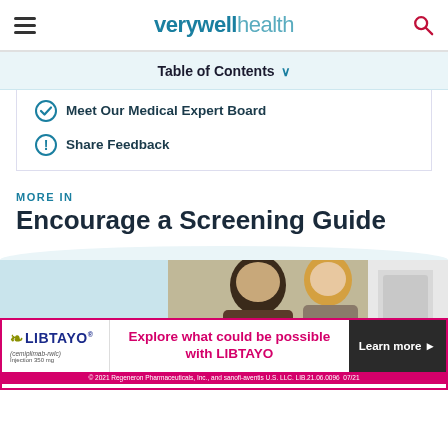verywellhealth
Table of Contents
Meet Our Medical Expert Board
Share Feedback
MORE IN
Encourage a Screening Guide
[Figure (photo): Medical professional assisting a patient with a mammography or imaging machine]
[Figure (infographic): LIBTAYO (cemiplimab-rwlc) advertisement banner: Explore what could be possible with LIBTAYO. Learn more. © 2021 Regeneron Pharmaceuticals, Inc., and sanofi-aventis U.S. LLC. LIB.21.06.0096 07/21]